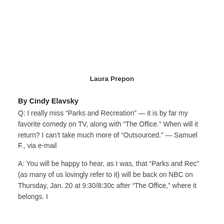Laura Prepon
By Cindy Elavsky
Q: I really miss “Parks and Recreation” — it is by far my favorite comedy on TV, along with “The Office.” When will it return? I can’t take much more of “Outsourced.” — Samuel F., via e-mail
A: You will be happy to hear, as I was, that “Parks and Rec” (as many of us lovingly refer to it) will be back on NBC on Thursday, Jan. 20 at 9:30/8:30c after “The Office,” where it belongs. I